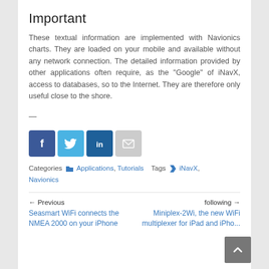Important
These textual information are implemented with Navionics charts. They are loaded on your mobile and available without any network connection. The detailed information provided by other applications often require, as the "Google" of iNavX, access to databases, so to the Internet. They are therefore only useful close to the shore.
—
[Figure (infographic): Social sharing icons: Facebook (dark blue), Twitter (light blue), LinkedIn (dark blue), Email (grey)]
Categories [folder icon] Applications, Tutorials   Tags [tag icon] iNavX, Navionics
← Previous
Seasmart WiFi connects the NMEA 2000 on your iPhone
following →
Miniplex-2Wi, the new WiFi multiplexer for iPad and iPho...